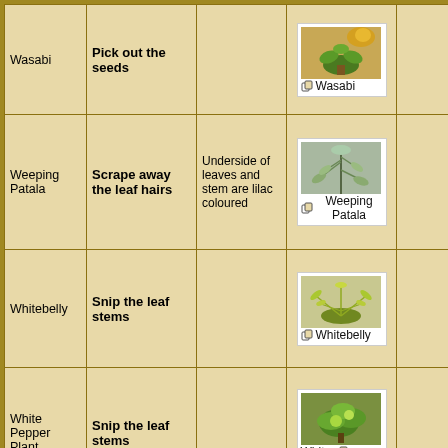| Plant Name | Action | Notes | Image | Extra |
| --- | --- | --- | --- | --- |
| Wasabi | Pick out the seeds |  | Wasabi [image] |  |
| Weeping Patala | Scrape away the leaf hairs | Underside of leaves and stem are lilac coloured | Weeping Patala [image] |  |
| Whitebelly | Snip the leaf stems |  | Whitebelly [image] |  |
| White Pepper Plant | Snip the leaf stems |  | White Pepper Plant [image] |  |
|  |  |  |  |  |